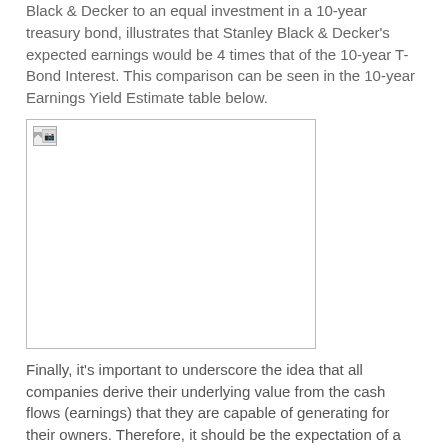Black & Decker to an equal investment in a 10-year treasury bond, illustrates that Stanley Black & Decker's expected earnings would be 4 times that of the 10-year T-Bond Interest. This comparison can be seen in the 10-year Earnings Yield Estimate table below.
[Figure (other): A broken/placeholder image representing a table or chart, displayed as a bordered rectangle with a broken image icon in the top-left corner.]
Finally, it's important to underscore the idea that all companies derive their underlying value from the cash flows (earnings) that they are capable of generating for their owners. Therefore, it should be the expectation of a prudent investor that – in the long-run – the likely future earnings of a